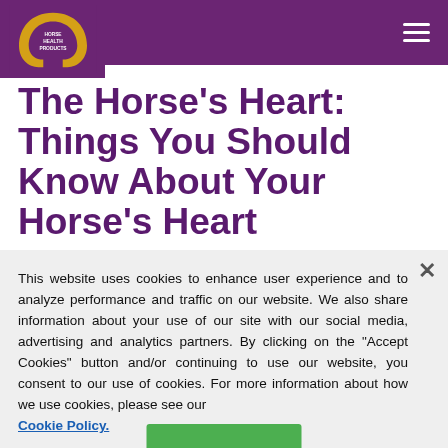Horse Health Products — navigation header with logo and hamburger menu
The Horse's Heart: Things You Should Know About Your Horse's Heart
This website uses cookies to enhance user experience and to analyze performance and traffic on our website. We also share information about your use of our site with our social media, advertising and analytics partners. By clicking on the "Accept Cookies" button and/or continuing to use our website, you consent to our use of cookies. For more information about how we use cookies, please see our Cookie Policy.